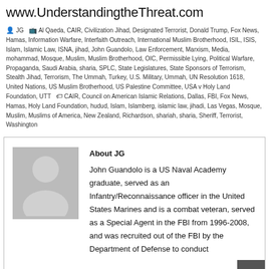www.UnderstandingtheThreat.com
JG  Al Qaeda, CAIR, Civilization Jihad, Designated Terrorist, Donald Trump, Fox News, Hamas, Information Warfare, Interfaith Outreach, International Muslim Brotherhood, ISIL, ISIS, Islam, Islamic Law, ISNA, jihad, John Guandolo, Law Enforcement, Marxism, Media, mohammad, Mosque, Muslim, Muslim Brotherhood, OIC, Permissible Lying, Political Warfare, Propaganda, Saudi Arabia, sharia, SPLC, State Legislatures, State Sponsors of Terrorism, Stealth Jihad, Terrorism, The Ummah, Turkey, U.S. Military, Ummah, UN Resolution 1618, United Nations, US Muslim Brotherhood, US Palestine Committee, USA v Holy Land Foundation, UTT  CAIR, Council on American Islamic Relations, Dallas, FBI, Fox News, Hamas, Holy Land Foundation, hudud, Islam, Islamberg, islamic law, jihadi, Las Vegas, Mosque, Muslim, Muslims of America, New Zealand, Richardson, shariah, sharia, Sheriff, Terrorist, Washington
[Figure (illustration): Gray avatar placeholder silhouette icon of a person (head and shoulders) on gray background]
About JG
John Guandolo is a US Naval Academy graduate, served as an Infantry/Reconnaissance officer in the United States Marines and is a combat veteran, served as a Special Agent in the FBI from 1996-2008, and was recruited out of the FBI by the Department of Defense to conduct